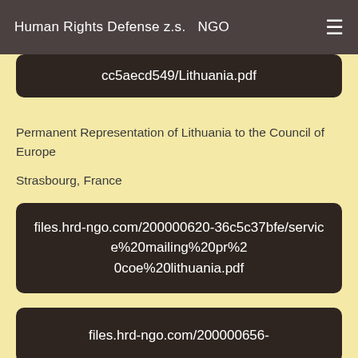Human Rights Defense z.s.   NGO
cc5aecd549/Lithuania.pdf
Permanent Representation of Lithuania to the Council of Europe
Strasbourg, France
files.hrd-ngo.com/200000620-36c5c37bfe/service%20mailing%20pr%20coe%20lithuania.pdf
files.hrd-ngo.com/200000656-